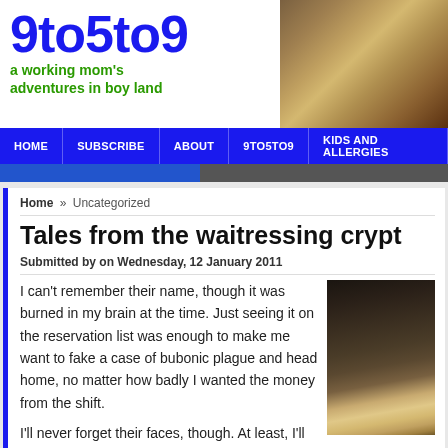9to5to9 - a working mom's adventures in boy land
[Figure (photo): Header photo showing hair/children from above]
[Figure (screenshot): Navigation bar with HOME, SUBSCRIBE, ABOUT, 9TO5TO9, KIDS AND ALLERGIES]
Home » Uncategorized
Tales from the waitressing crypt
Submitted by on Wednesday, 12 January 2011
I can't remember their name, though it was burned in my brain at the time. Just seeing it on the reservation list was enough to make me want to fake a case of bubonic plague and head home, no matter how badly I wanted the money from the shift.
[Figure (photo): Photo of people sitting, possibly in restaurant or similar setting]
I'll never forget their faces, though. At least, I'll never forget